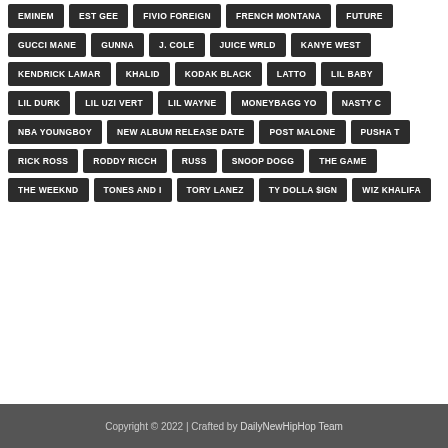EMINEM
EST GEE
FIVIO FOREIGN
FRENCH MONTANA
FUTURE
GUCCI MANE
GUNNA
J. COLE
JUICE WRLD
KANYE WEST
KENDRICK LAMAR
KHALID
KODAK BLACK
LATTO
LIL BABY
LIL DURK
LIL UZI VERT
LIL WAYNE
MONEYBAGG YO
NASTY C
NBA YOUNGBOY
NEW ALBUM RELEASE DATE
POST MALONE
PUSHA T
RICK ROSS
RODDY RICCH
RUSS
SNOOP DOGG
THE GAME
THE WEEKND
TONES AND I
TORY LANEZ
TY DOLLA $IGN
WIZ KHALIFA
Copyright © 2022 | Crafted by DailyNewHipHop Team